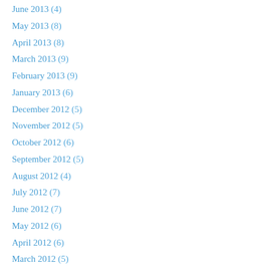June 2013 (4)
May 2013 (8)
April 2013 (8)
March 2013 (9)
February 2013 (9)
January 2013 (6)
December 2012 (5)
November 2012 (5)
October 2012 (6)
September 2012 (5)
August 2012 (4)
July 2012 (7)
June 2012 (7)
May 2012 (6)
April 2012 (6)
March 2012 (5)
February 2012 (4)
January 2012 (6)
December 2011 (5)
November 2011 (5)